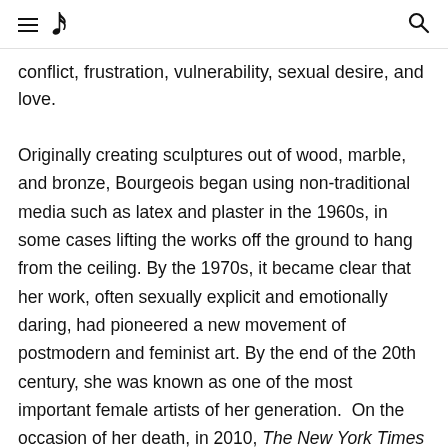≡ ♩ 🔍
conflict, frustration, vulnerability, sexual desire, and love.
Originally creating sculptures out of wood, marble, and bronze, Bourgeois began using non-traditional media such as latex and plaster in the 1960s, in some cases lifting the works off the ground to hang from the ceiling. By the 1970s, it became clear that her work, often sexually explicit and emotionally daring, had pioneered a new movement of postmodern and feminist art. By the end of the 20th century, she was known as one of the most important female artists of her generation.  On the occasion of her death, in 2010, The New York Times summed up her œuvre by saying that it "shared a set of repeated themes, centered on the human body and its need for nurture and protection in a frightening world."